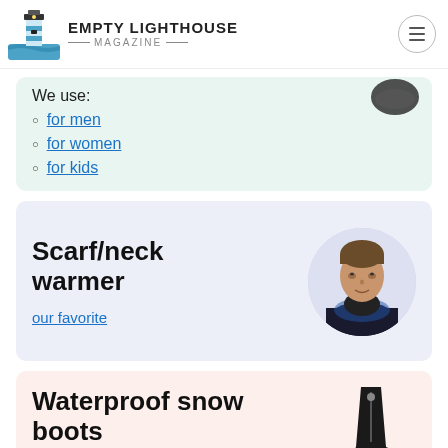EMPTY LIGHTHOUSE MAGAZINE
We use:
for men
for women
for kids
Scarf/neck warmer
our favorite
Waterproof snow boots